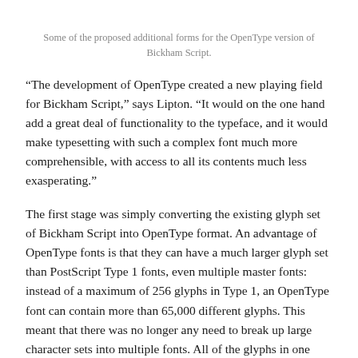Some of the proposed additional forms for the OpenType version of Bickham Script.
“The development of OpenType created a new playing field for Bickham Script,” says Lipton. “It would on the one hand add a great deal of functionality to the typeface, and it would make typesetting with such a complex font much more comprehensible, with access to all its contents much less exasperating.”
The first stage was simply converting the existing glyph set of Bickham Script into OpenType format. An advantage of OpenType fonts is that they can have a much larger glyph set than PostScript Type 1 fonts, even multiple master fonts: instead of a maximum of 256 glyphs in Type 1, an OpenType font can contain more than 65,000 different glyphs. This meant that there was no longer any need to break up large character sets into multiple fonts. All of the glyphs in one weight of Bickham Script could be contained in a single font file.